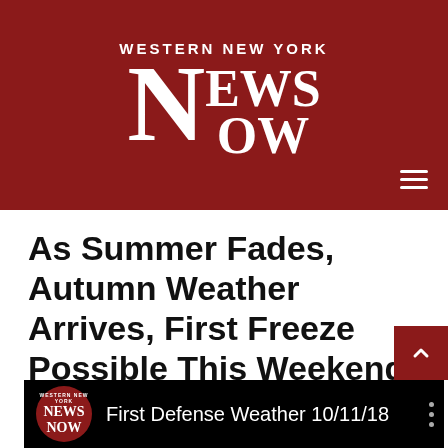[Figure (logo): Western New York News Now logo — dark red banner with white text]
As Summer Fades, Autumn Weather Arrives, First Freeze Possible This Weekend
October 11, 2018   dakotahunter   Comments Off
[Figure (screenshot): Video thumbnail with black background showing Western New York News Now logo and text 'First Defense Weather 10/11/18']